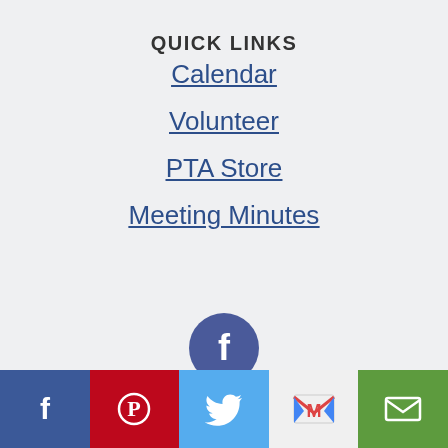QUICK LINKS
Calendar
Volunteer
PTA Store
Meeting Minutes
[Figure (logo): Facebook circular logo icon in dark blue/purple]
[Figure (infographic): Social media sharing bar with Facebook, Pinterest, Twitter, Gmail, and Email buttons]